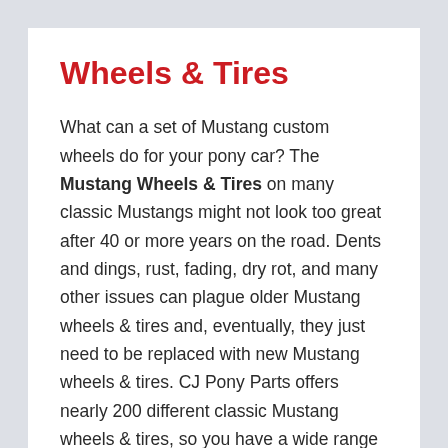Wheels & Tires
What can a set of Mustang custom wheels do for your pony car? The Mustang Wheels & Tires on many classic Mustangs might not look too great after 40 or more years on the road. Dents and dings, rust, fading, dry rot, and many other issues can plague older Mustang wheels & tires and, eventually, they just need to be replaced with new Mustang wheels & tires. CJ Pony Parts offers nearly 200 different classic Mustang wheels & tires, so you have a wide range of options to choose from. In addition to Mustang wheels, wheel covers, center caps, and Mustang Tires are also available from CJ Pony Parts. With so many options, you can give your Mustang that classic from the factory look, go with a more aggressive, performance inspired wheel, or be